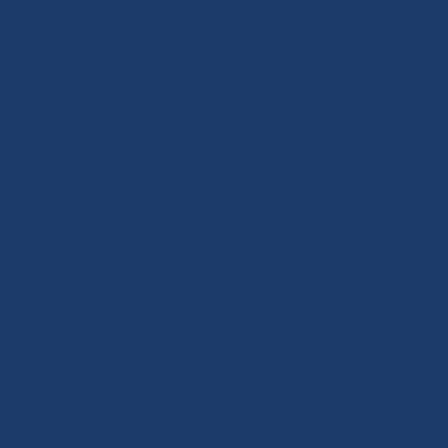a range of documents and expired ph